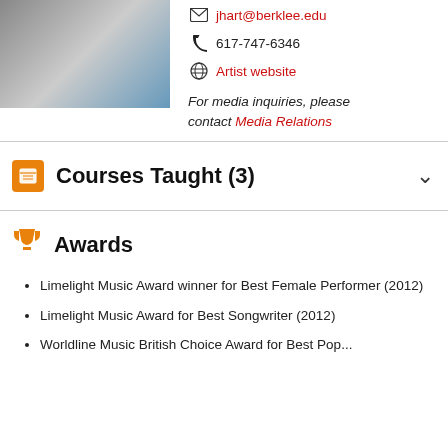[Figure (photo): Partial photo of a person in graduation attire]
jhart@berklee.edu
617-747-6346
Artist website
For media inquiries, please contact Media Relations
Courses Taught (3)
Awards
Limelight Music Award winner for Best Female Performer (2012)
Limelight Music Award for Best Songwriter (2012)
Worldline Music British Choice Award for Best Pop...